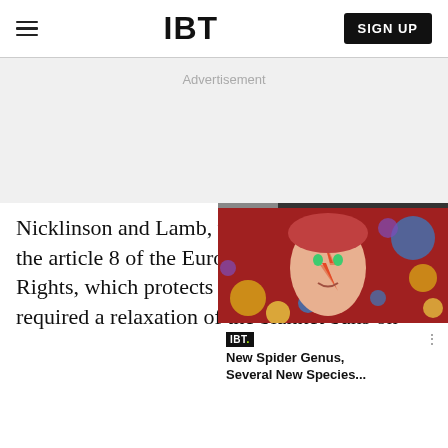IBT
Advertisement
[Figure (screenshot): IBT video widget showing a person with colorful face paint in a cosmic/space-themed background. Headline: 'New Spider Genus, Several New Species...']
Nicklinson and Lamb, with the article 8 of the European Rights, which protects the right to private life, required a relaxation of the blanket bans on